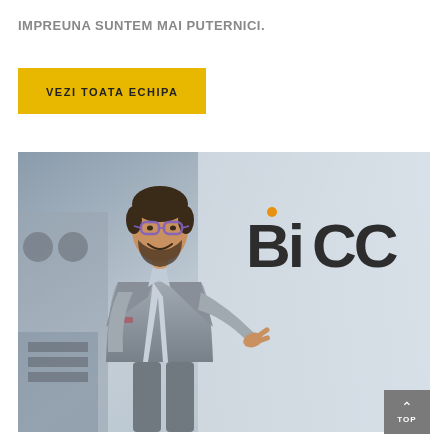IMPREUNA SUNTEM MAI PUTERNICI.
VEZI TOATA ECHIPA
[Figure (photo): A smiling man in a grey suit and glasses, pointing to his right, standing in front of a large BICO branded sign in an industrial/office setting.]
TOP